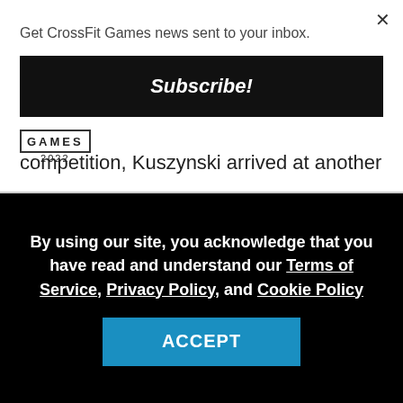Get CrossFit Games news sent to your inbox.
Subscribe!
[Figure (logo): CrossFit Games 2022 logo]
competition, Kuszynski arrived at another
By using our site, you acknowledge that you have read and understand our Terms of Service, Privacy Policy, and Cookie Policy
ACCEPT